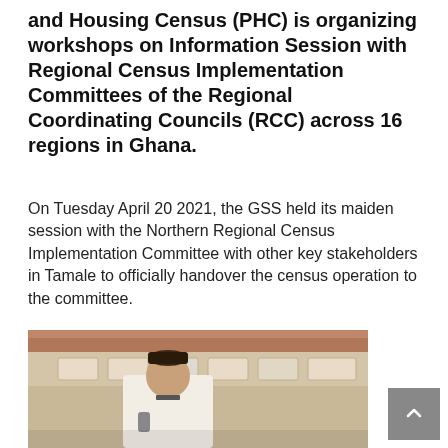and Housing Census (PHC) is organizing workshops on Information Session with Regional Census Implementation Committees of the Regional Coordinating Councils (RCC) across 16 regions in Ghana.
On Tuesday April 20 2021, the GSS held its maiden session with the Northern Regional Census Implementation Committee with other key stakeholders in Tamale to officially handover the census operation to the committee.
[Figure (photo): A person speaking at a microphone inside a building, wearing a dark cap and white shirt with a tie, in what appears to be a meeting or conference setting.]